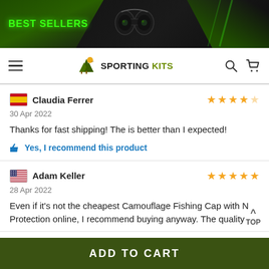[Figure (screenshot): E-commerce website banner with 'BEST SELLERS' text in green on dark background with binoculars image]
SPORTING KITS — navigation bar with hamburger menu, logo, search and cart icons
🇪🇸 Claudia Ferrer ★★★★★ 30 Apr 2022 Thanks for fast shipping! The is better than I expected! 👍 Yes, I recommend this product
🇺🇸 Adam Keller ★★★★★ 28 Apr 2022 Even if it's not the cheapest Camouflage Fishing Cap with N Protection online, I recommend buying anyway. The quality
ADD TO CART